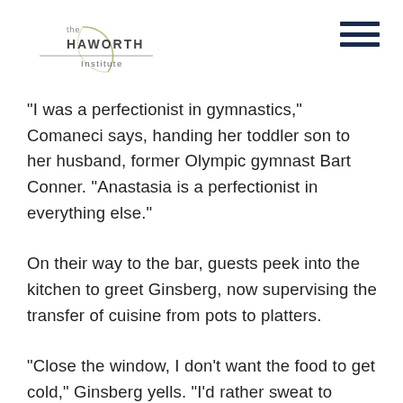[Figure (logo): The Haworth Institute logo with circular arc design and horizontal rule]
“I was a perfectionist in gymnastics,” Comaneci says, handing her toddler son to her husband, former Olympic gymnast Bart Conner. “Anastasia is a perfectionist in everything else.”
On their way to the bar, guests peek into the kitchen to greet Ginsberg, now supervising the transfer of cuisine from pots to platters.
“Close the window, I don’t want the food to get cold,” Ginsberg yells. “I’d rather sweat to death.”